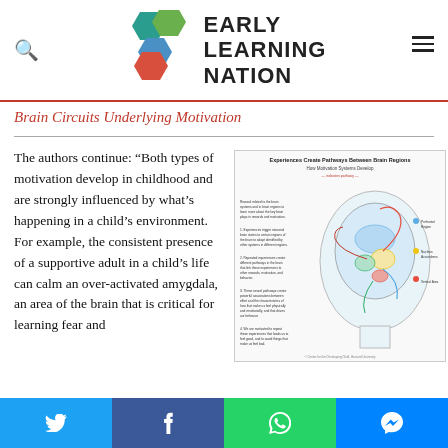[Figure (logo): Early Learning Nation logo with colorful hexagon tiles and bold text]
Brain Circuits Underlying Motivation
The authors continue: “Both types of motivation develop in childhood and are strongly influenced by what’s happening in a child’s environment. For example, the consistent presence of a supportive adult in a child’s life can calm an over-activated amygdala, an area of the brain that is critical for learning fear and
[Figure (infographic): Infographic titled 'Experiences Create Pathways Between Brain Regions: How Motivation Systems Develop' showing a brain diagram with labeled regions and colored pathway arrows]